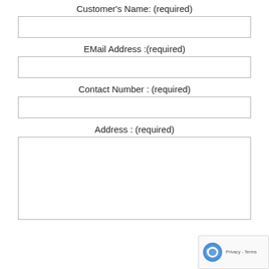Customer's Name: (required)
[Figure (other): Empty input field for Customer's Name]
EMail Address :(required)
[Figure (other): Empty input field for EMail Address]
Contact Number : (required)
[Figure (other): Empty input field for Contact Number]
Address : (required)
[Figure (other): Empty textarea field for Address]
[Figure (other): reCAPTCHA widget overlay showing logo and Privacy - Terms text]